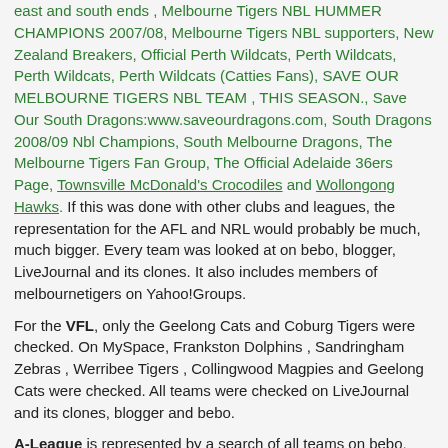east and south ends , Melbourne Tigers NBL HUMMER CHAMPIONS 2007/08, Melbourne Tigers NBL supporters, New Zealand Breakers, Official Perth Wildcats, Perth Wildcats, Perth Wildcats, Perth Wildcats (Catties Fans), SAVE OUR MELBOURNE TIGERS NBL TEAM , THIS SEASON., Save Our South Dragons:www.saveourdragons.com, South Dragons 2008/09 Nbl Champions, South Melbourne Dragons, The Melbourne Tigers Fan Group, The Official Adelaide 36ers Page, Townsville McDonald's Crocodiles and Wollongong Hawks. If this was done with other clubs and leagues, the representation for the AFL and NRL would probably be much, much bigger. Every team was looked at on bebo, blogger, LiveJournal and its clones. It also includes members of melbournetigers on Yahoo!Groups.
For the VFL, only the Geelong Cats and Coburg Tigers were checked. On MySpace, Frankston Dolphins , Sandringham Zebras , Werribee Tigers , Collingwood Magpies and Geelong Cats were checked. All teams were checked on LiveJournal and its clones, blogger and bebo.
A-League is represented by a search of all teams on bebo,